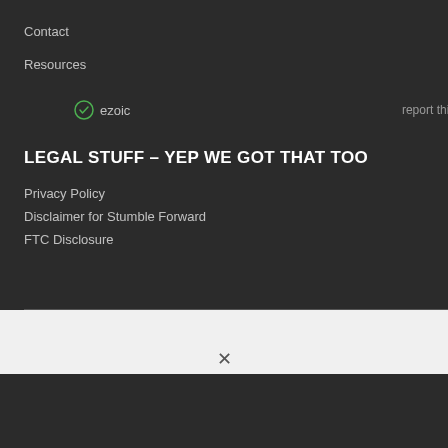Contact
Resources
LEGAL STUFF – YEP WE GOT THAT TOO
Privacy Policy
Disclaimer for Stumble Forward
FTC Disclosure